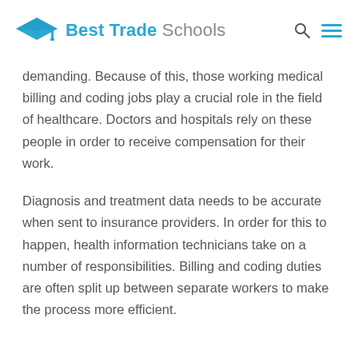Best Trade Schools
demanding. Because of this, those working medical billing and coding jobs play a crucial role in the field of healthcare. Doctors and hospitals rely on these people in order to receive compensation for their work.
Diagnosis and treatment data needs to be accurate when sent to insurance providers. In order for this to happen, health information technicians take on a number of responsibilities. Billing and coding duties are often split up between separate workers to make the process more efficient.